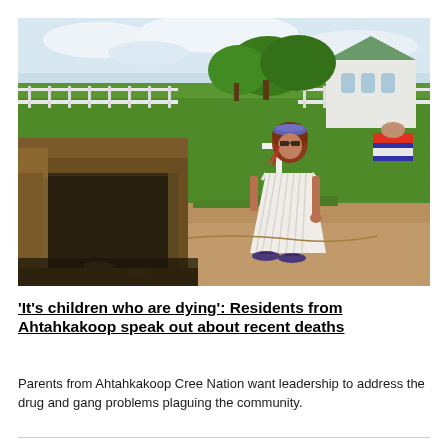[Figure (photo): A woman wearing a white pleated dress, colorful headband and sunglasses stands beside an open grave with a white cross marker in a cemetery. Green grass, a white fence, and a white church building are visible in the background under a partly cloudy sky.]
'It's children who are dying': Residents from Ahtahkakoop speak out about recent deaths
Parents from Ahtahkakoop Cree Nation want leadership to address the drug and gang problems plaguing the community.